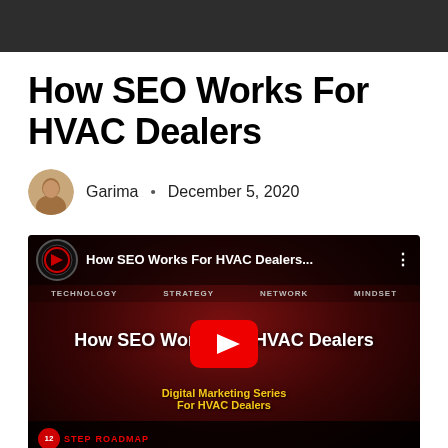How SEO Works For HVAC Dealers
Garima • December 5, 2020
[Figure (screenshot): YouTube video thumbnail showing 'How SEO Works For HVAC Dealers...' with navigation bar showing TECHNOLOGY, STRATEGY, NETWORK, MINDSET. Main content shows 'How SEO Works For HVAC Dealers' title in white, 'Digital Marketing Series For HVAC Dealers' subtitle in yellow, with a YouTube play button overlay. Bottom bar shows 12 STEP ROADMAP logo.]